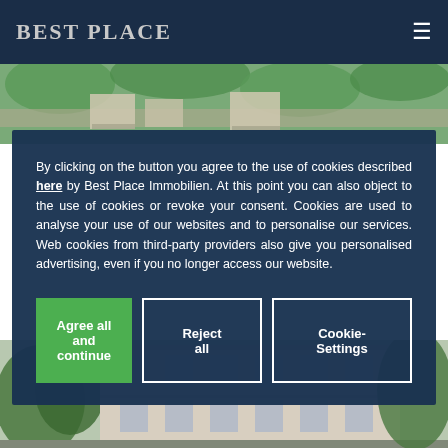Best Place
[Figure (photo): Aerial view of residential buildings with green trees]
By clicking on the button you agree to the use of cookies described here by Best Place Immobilien. At this point you can also object to the use of cookies or revoke your consent. Cookies are used to analyse your use of our websites and to personalise our services. Web cookies from third-party providers also give you personalised advertising, even if you no longer access our website.
Agree all and continue
Reject all
Cookie-Settings
[Figure (photo): Street-level view of classical European apartment building facade with windows and trees]